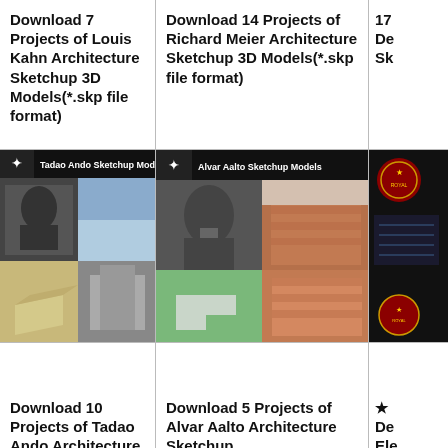Download 7 Projects of Louis Kahn Architecture Sketchup 3D Models(*.skp file format)
Download 14 Projects of Richard Meier Architecture Sketchup 3D Models(*.skp file format)
17 De Sk
[Figure (photo): Tadao Ando Sketchup Models collage showing portrait of Tadao Ando and 3D architectural models]
[Figure (photo): Alvar Aalto Sketchup Models collage showing portrait of Alvar Aalto and brick building architecture and 3D models]
[Figure (photo): Partial image of another architecture product, dark background with logo]
Download 10 Projects of Tadao Ando Architecture
Download 5 Projects of Alvar Aalto Architecture Sketchup
★ De Ele